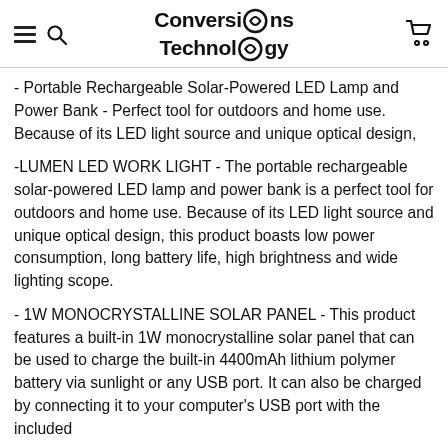Conversions Technology
- Portable Rechargeable Solar-Powered LED Lamp and Power Bank - Perfect tool for outdoors and home use. Because of its LED light source and unique optical design,
-LUMEN LED WORK LIGHT - The portable rechargeable solar-powered LED lamp and power bank is a perfect tool for outdoors and home use. Because of its LED light source and unique optical design, this product boasts low power consumption, long battery life, high brightness and wide lighting scope.
- 1W MONOCRYSTALLINE SOLAR PANEL - This product features a built-in 1W monocrystalline solar panel that can be used to charge the built-in 4400mAh lithium polymer battery via sunlight or any USB port. It can also be charged by connecting it to your computer's USB port with the included